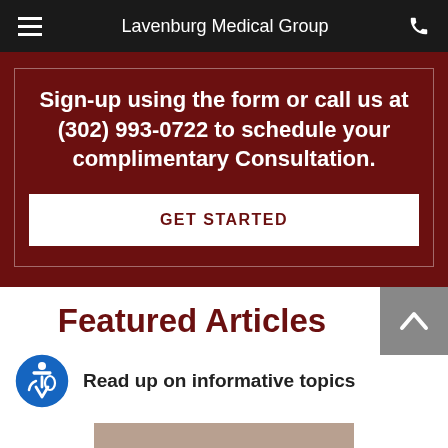Lavenburg Medical Group
Sign-up using the form or call us at (302) 993-0722 to schedule your complimentary Consultation.
GET STARTED
Featured Articles
Read up on informative topics
[Figure (photo): Partial bottom image strip visible at bottom of page]